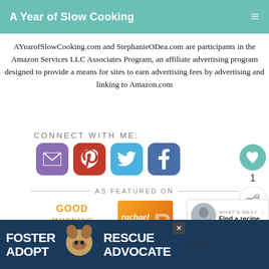A Year of Slow Cooking
AYearofSlowCooking.com and StephanieODea.com are participants in the Amazon Services LLC Associates Program, an affiliate advertising program designed to provide a means for sites to earn advertising fees by advertising and linking to Amazon.com
CONNECT WITH ME:
[Figure (infographic): Social media icons: email (purple), Pinterest (red), Twitter (blue), Facebook (blue)]
[Figure (infographic): AS FEATURED ON section divider with horizontal lines]
[Figure (logo): Good Morning America logo in gold/yellow text]
[Figure (logo): Rachael Ray logo on orange/gradient background]
[Figure (infographic): What's Next panel with photo thumbnail and text: WHAT'S NEXT → Find a recipe]
[Figure (photo): Advertisement banner: FOSTER ADOPT with dog photo and RESCUE ADVOCATE text on dark blue background]